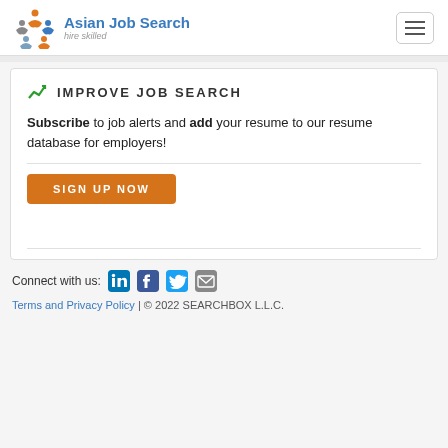Asian Job Search – hire skilled
IMPROVE JOB SEARCH
Subscribe to job alerts and add your resume to our resume database for employers!
SIGN UP NOW
Connect with us: [LinkedIn] [Facebook] [Twitter] [Email]
Terms and Privacy Policy | © 2022 SEARCHBOX L.L.C.